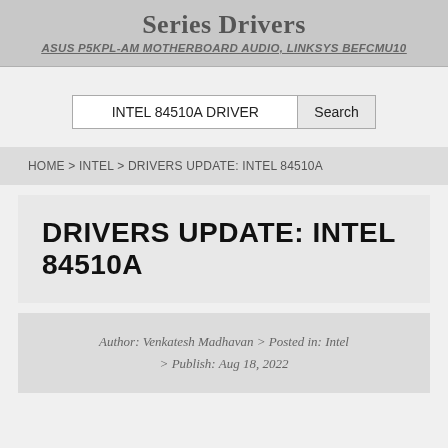Series Drivers
ASUS P5KPL-AM MOTHERBOARD AUDIO, LINKSYS BEFCMU10
INTEL 84510A DRIVER
HOME > INTEL > DRIVERS UPDATE: INTEL 84510A
DRIVERS UPDATE: INTEL 84510A
Author: Venkatesh Madhavan > Posted in: Intel > Publish: Aug 18, 2022